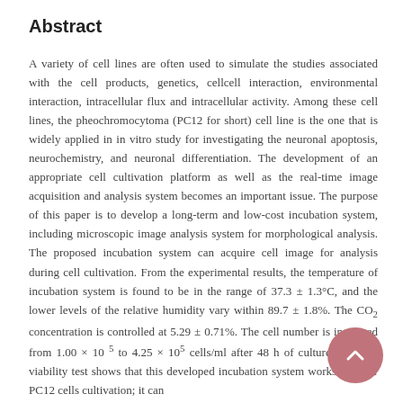Abstract
A variety of cell lines are often used to simulate the studies associated with the cell products, genetics, cellcell interaction, environmental interaction, intracellular flux and intracellular activity. Among these cell lines, the pheochromocytoma (PC12 for short) cell line is the one that is widely applied in in vitro study for investigating the neuronal apoptosis, neurochemistry, and neuronal differentiation. The development of an appropriate cell cultivation platform as well as the real-time image acquisition and analysis system becomes an important issue. The purpose of this paper is to develop a long-term and low-cost incubation system, including microscopic image analysis system for morphological analysis. The proposed incubation system can acquire cell image for analysis during cell cultivation. From the experimental results, the temperature of incubation system is found to be in the range of 37.3 ± 1.3°C, and the lower levels of the relative humidity vary within 89.7 ± 1.8%. The CO₂ concentration is controlled at 5.29 ± 0.71%. The cell number is increased from 1.00 × 10⁵ to 4.25 × 10⁵ cells/ml after 48 h of culture. The cell viability test shows that this developed incubation system works well for PC12 cells cultivation; it can